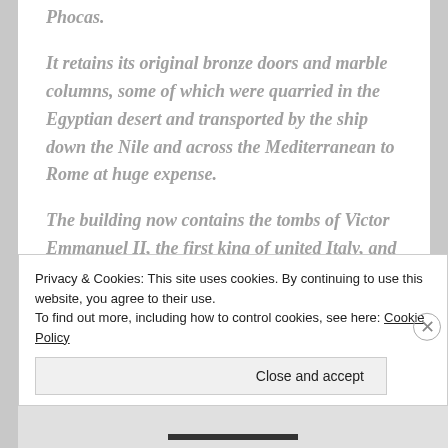Phocas.
It retains its original bronze doors and marble columns, some of which were quarried in the Egyptian desert and transported by the ship down the Nile and across the Mediterranean to Rome at huge expense.
The building now contains the tombs of Victor Emmanuel II, the first king of united Italy, and the Renaissance artist Raphael.
Privacy & Cookies: This site uses cookies. By continuing to use this website, you agree to their use.
To find out more, including how to control cookies, see here: Cookie Policy